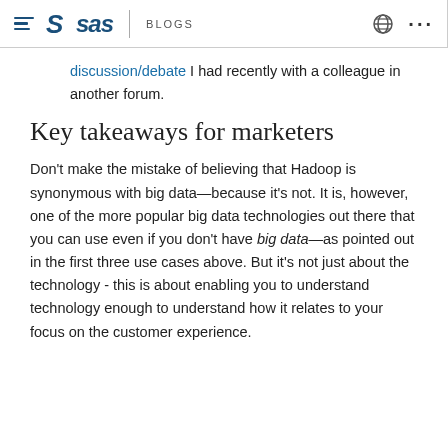SAS BLOGS
discussion/debate I had recently with a colleague in another forum.
Key takeaways for marketers
Don't make the mistake of believing that Hadoop is synonymous with big data—because it's not. It is, however, one of the more popular big data technologies out there that you can use even if you don't have big data—as pointed out in the first three use cases above. But it's not just about the technology - this is about enabling you to understand technology enough to understand how it relates to your focus on the customer experience.